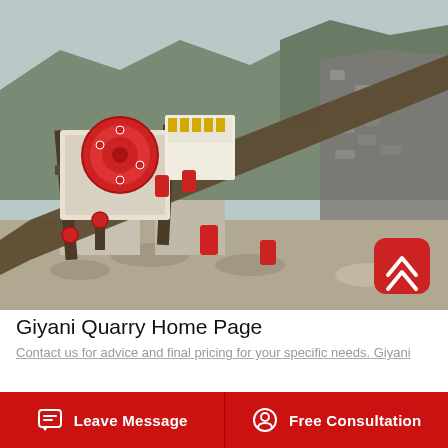[Figure (photo): Outdoor quarry jaw crusher machine with red flywheel, conveyor belt, steel frame structure set against rocky mountain background with green hills. Industrial mining/crushing equipment in operation at a quarry site.]
Giyani Quarry Home Page
Contact us for advice and final pricing for your specific needs. Giyani
Leave Message   Free Consultation